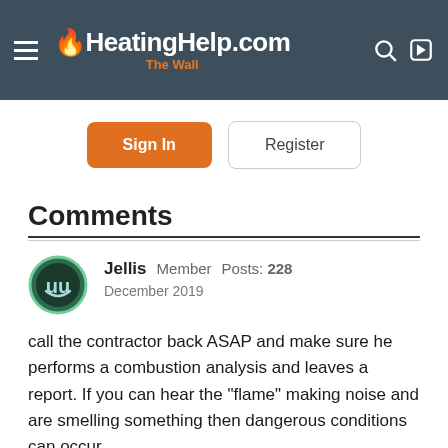HeatingHelp.com The Wall
Sign In
Register
Comments
Jellis  Member  Posts: 228  December 2019
call the contractor back ASAP and make sure he performs a combustion analysis and leaves a report. If you can hear the "flame" making noise and are smelling something then dangerous conditions can occur.

you should not smell a properly adjusted and working oil boiler.